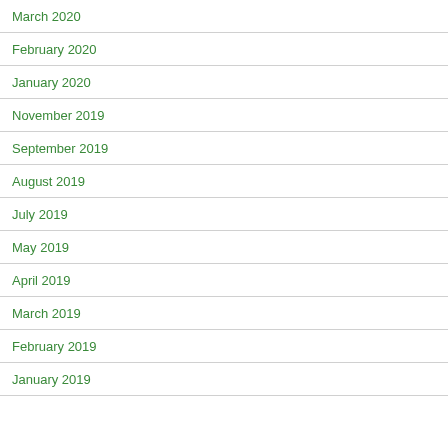March 2020
February 2020
January 2020
November 2019
September 2019
August 2019
July 2019
May 2019
April 2019
March 2019
February 2019
January 2019